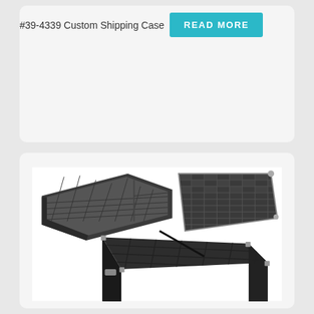#39-4339 Custom Shipping Case
READ MORE
[Figure (photo): Custom shipping case with open lid showing foam-padded grid compartments inside, and a removable foam tray with grid compartments floating above the case. The case has a checkered foam lid lining and metal corner hardware.]